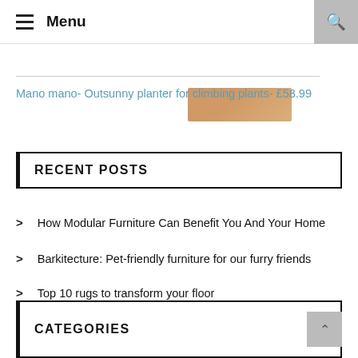Menu
[Figure (photo): Partial image of a planter product visible at top of page]
Mano mano- Outsunny planter for climbing plants- £58.99
RECENT POSTS
How Modular Furniture Can Benefit You And Your Home
Barkitecture: Pet-friendly furniture for our furry friends
Top 10 rugs to transform your floor
CATEGORIES